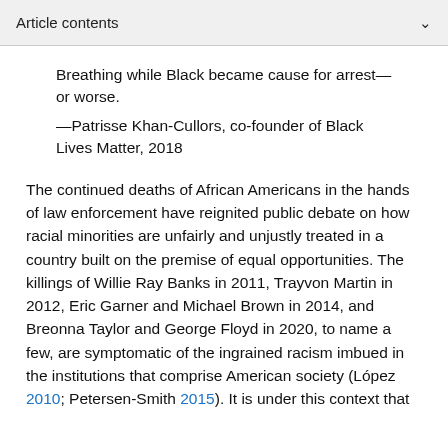Article contents
Breathing while Black became cause for arrest—or worse.
—Patrisse Khan-Cullors, co-founder of Black Lives Matter, 2018
The continued deaths of African Americans in the hands of law enforcement have reignited public debate on how racial minorities are unfairly and unjustly treated in a country built on the premise of equal opportunities. The killings of Willie Ray Banks in 2011, Trayvon Martin in 2012, Eric Garner and Michael Brown in 2014, and Breonna Taylor and George Floyd in 2020, to name a few, are symptomatic of the ingrained racism imbued in the institutions that comprise American society (López 2010; Petersen-Smith 2015). It is under this context that